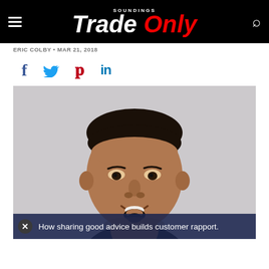SOUNDINGS Trade Only
ERIC COLBY • MAR 21, 2018
[Figure (infographic): Social media sharing icons: Facebook (f), Twitter (bird), Pinterest (p), LinkedIn (in)]
[Figure (photo): Portrait photo of a smiling man with short hair and a goatee, against a light gray background]
How sharing good advice builds customer rapport.